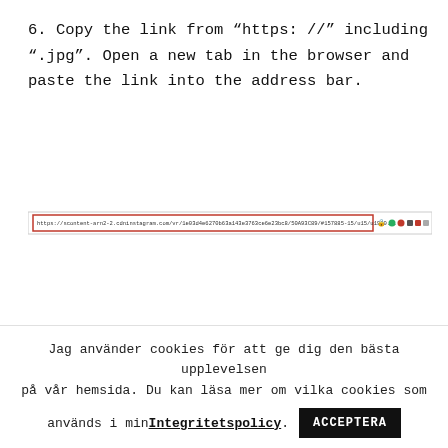6. Copy the link from “https: //” including “.jpg”. Open a new tab in the browser and paste the link into the address bar.
[Figure (screenshot): Browser address bar with a URL highlighted in a red-bordered box, followed by browser toolbar icons]
Jag använder cookies för att ge dig den bästa upplevelsen på vår hemsida. Du kan läsa mer om vilka cookies som används i min Integritetspolicy. ACCEPTERA